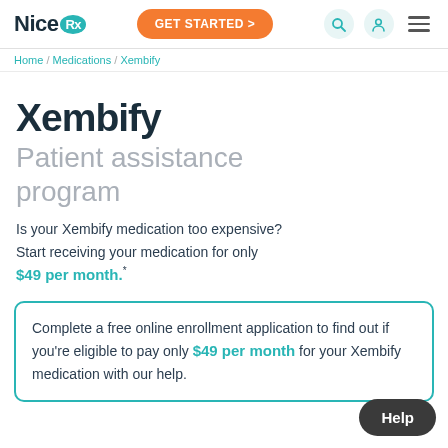NiceRx | GET STARTED > | search | account | menu
Home / Medications / Xembify
Xembify
Patient assistance program
Is your Xembify medication too expensive? Start receiving your medication for only $49 per month.*
Complete a free online enrollment application to find out if you're eligible to pay only $49 per month for your Xembify medication with our help.